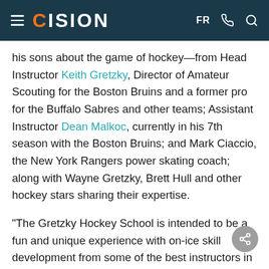CISION — FR
his sons about the game of hockey—from Head Instructor Keith Gretzky, Director of Amateur Scouting for the Boston Bruins and a former pro for the Buffalo Sabres and other teams; Assistant Instructor Dean Malkoc, currently in his 7th season with the Boston Bruins; and Mark Ciaccio, the New York Rangers power skating coach; along with Wayne Gretzky, Brett Hull and other hockey stars sharing their expertise.
"The Gretzky Hockey School is intended to be a fun and unique experience with on-ice skill development from some of the best instructors in the world,